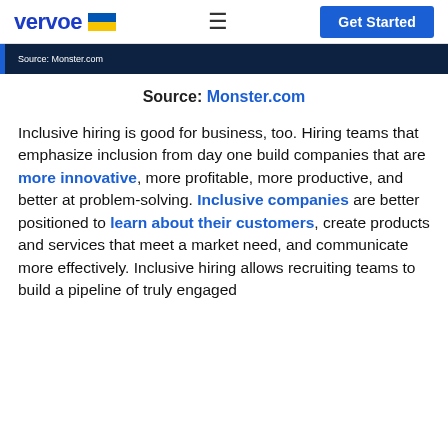vervoe | Get Started
[Figure (screenshot): Dark navy banner with small white text 'Source: Monster.com' and a blue left border stripe]
Source: Monster.com
Inclusive hiring is good for business, too. Hiring teams that emphasize inclusion from day one build companies that are more innovative, more profitable, more productive, and better at problem-solving. Inclusive companies are better positioned to learn about their customers, create products and services that meet a market need, and communicate more effectively. Inclusive hiring allows recruiting teams to build a pipeline of truly engaged